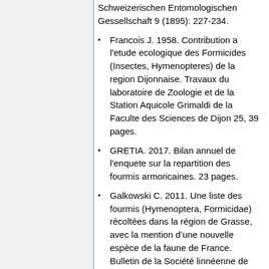Schweizerischen Entomologischen Gessellschaft 9 (1895): 227-234.
Francois J. 1958. Contribution a l'etude ecologique des Formicides (Insectes, Hymenopteres) de la region Dijonnaise. Travaux du laboratoire de Zoologie et de la Station Aquicole Grimaldi de la Faculte des Sciences de Dijon 25, 39 pages.
GRETIA. 2017. Bilan annuel de l'enquete sur la repartition des fourmis armoricaines. 23 pages.
Galkowski C. 2011. Une liste des fourmis (Hymenoptera, Formicidae) récoltées dans la région de Grasse, avec la mention d’une nouvelle espèce de la faune de France. Bulletin de la Société linnéenne de Provence, 62 : 41-44.